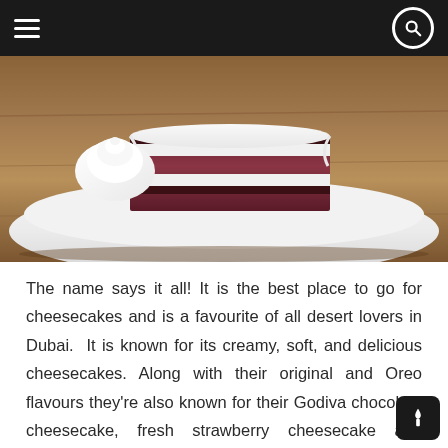[Navigation bar with hamburger menu and search icon]
[Figure (photo): A slice of red velvet cheesecake with white cream frosting and a whipped cream dollop, served on a white rectangular plate on a wooden table]
The name says it all! It is the best place to go for cheesecakes and is a favourite of all desert lovers in Dubai.  It is known for its creamy, soft, and delicious cheesecakes. Along with their original and Oreo flavours they're also known for their Godiva chocolate cheesecake, fresh strawberry cheesecake and pineapple upside-down cake.